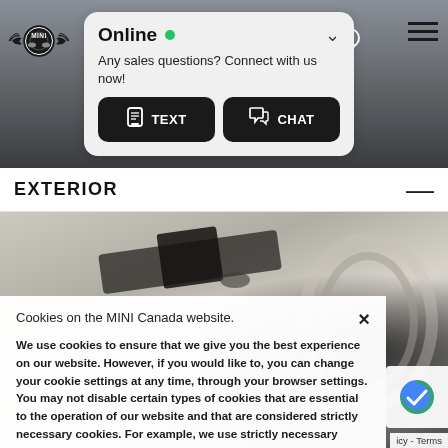[Figure (screenshot): MINI Cooper website screenshot showing a header with MINI logo, location icon, hamburger menu, and an 'Online' chat popup with TEXT and CHAT buttons over a car photo background.]
Online
Any sales questions? Connect with us now!
TEXT
CHAT
EXTERIOR
[Figure (photo): Close-up of MINI Cooper exterior showing hood with racing stripes and MINI winged logo badge, and partially visible headlight on right.]
Cookies on the MINI Canada website.
We use cookies to ensure that we give you the best experience on our website. However, if you would like to, you can change your cookie settings at any time, through your browser settings. You may not disable certain types of cookies that are essential to the operation of our website and that are considered strictly necessary cookies. For example, we use strictly necessary cookies to provide you with regional pricing information. You can find detailed information about how cookies are used on this website by clicking here.
icy - Terms